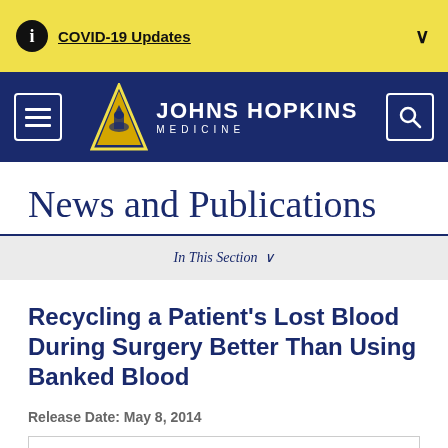COVID-19 Updates
[Figure (logo): Johns Hopkins Medicine logo with triangle emblem on navy background]
News and Publications
In This Section
Recycling a Patient's Lost Blood During Surgery Better Than Using Banked Blood
Release Date: May 8, 2014